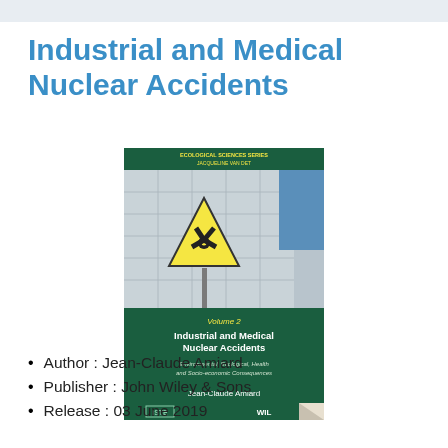Industrial and Medical Nuclear Accidents
[Figure (photo): Book cover of 'Industrial and Medical Nuclear Accidents' Volume 2 by Jean-Claude Amiard, published by ISTE/Wiley. The cover shows a radioactive warning sign on a building facade. Green background with white and yellow text. Part of the Ecological Sciences Series. Subtitle: Environmental, Ecological, Health and Socio-economic Consequences.]
Author : Jean-Claude Amiard
Publisher : John Wiley & Sons
Release : 03 June 2019